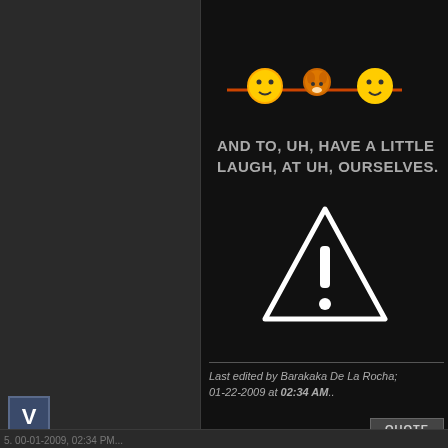[Figure (illustration): Emoji/emoticon animation showing two round yellow smiley faces with a creature between them on a horizontal line]
AND TO, UH, HAVE A LITTLE LAUGH, AT UH, OURSELVES.
[Figure (illustration): Warning triangle icon with exclamation mark, white on black background]
Last edited by Barakaka De La Rocha; 01-22-2009 at 02:34 AM..
[Figure (logo): V logo in blue-grey box]